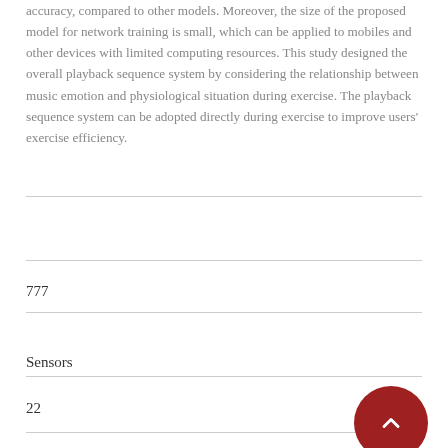accuracy, compared to other models. Moreover, the size of the proposed model for network training is small, which can be applied to mobiles and other devices with limited computing resources. This study designed the overall playback sequence system by considering the relationship between music emotion and physiological situation during exercise. The playback sequence system can be adopted directly during exercise to improve users' exercise efficiency.
777
Sensors
22